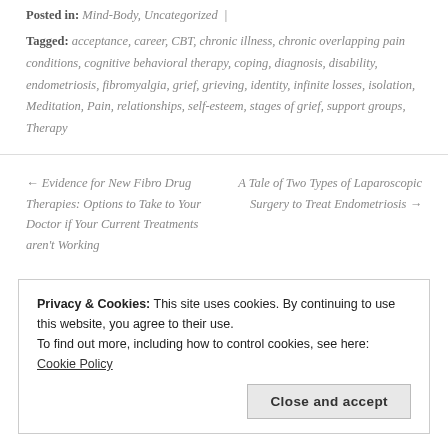Posted in: Mind-Body, Uncategorized |
Tagged: acceptance, career, CBT, chronic illness, chronic overlapping pain conditions, cognitive behavioral therapy, coping, diagnosis, disability, endometriosis, fibromyalgia, grief, grieving, identity, infinite losses, isolation, Meditation, Pain, relationships, self-esteem, stages of grief, support groups, Therapy
← Evidence for New Fibro Drug Therapies: Options to Take to Your Doctor if Your Current Treatments aren't Working
A Tale of Two Types of Laparoscopic Surgery to Treat Endometriosis →
Privacy & Cookies: This site uses cookies. By continuing to use this website, you agree to their use.
To find out more, including how to control cookies, see here: Cookie Policy
Close and accept